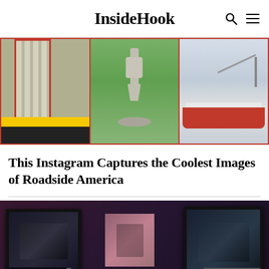InsideHook
[Figure (photo): Three-panel photo collage with red border: left panel shows a building exterior with striped columns and yellow curb, center panel shows a concrete statue/sculpture on green grass, right panel shows a boat detail in gray/white tones.]
This Instagram Captures the Coolest Images of Roadside America
[Figure (photo): Photo of framed photographs displayed on a wall in dim purple/red ambient lighting. Three framed photos are visible: left shows a black and white civil rights era photograph of a person in a car, center shows an unframed portrait photo of a man in a suit, right shows a black and white photo of people outdoors. The bottom of the image shows hints of additional frames and warm spotlight glow.]